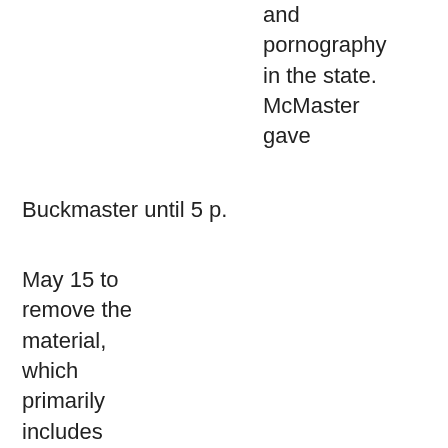and pornography in the state. McMaster gave
Buckmaster until 5 p.
May 15 to remove the material, which primarily includes under the "erotic services" category, attorney general